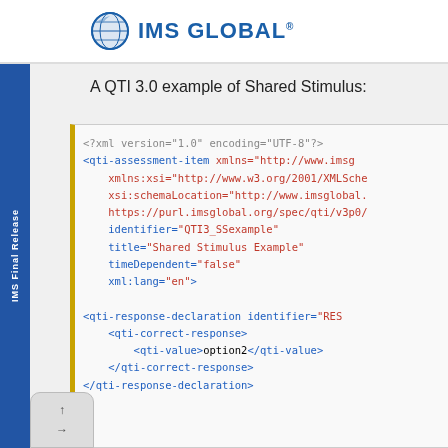IMS GLOBAL
IMS Final Release
A QTI 3.0 example of Shared Stimulus:
<?xml version="1.0" encoding="UTF-8"?>
<qti-assessment-item xmlns="http://www.imsg
  xmlns:xsi="http://www.w3.org/2001/XMLSche
  xsi:schemaLocation="http://www.imsglobal.
  https://purl.imsglobal.org/spec/qti/v3p0/
  identifier="QTI3_SSexample"
  title="Shared Stimulus Example"
  timeDependent="false"
  xml:lang="en">

<qti-response-declaration identifier="RES
  <qti-correct-response>
    <qti-value>option2</qti-value>
  </qti-correct-response>
</qti-response-declaration>